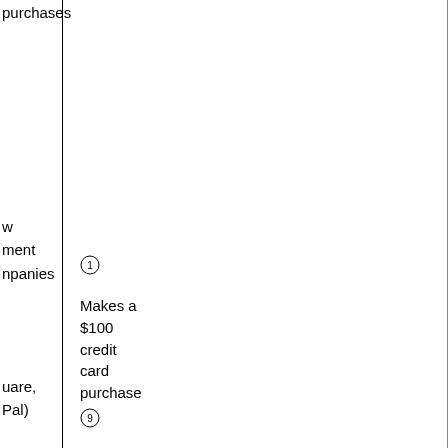purchases
w
ment
npanies
uare,
Pal)
①
Makes a
$100
credit
card
purchase
⑨